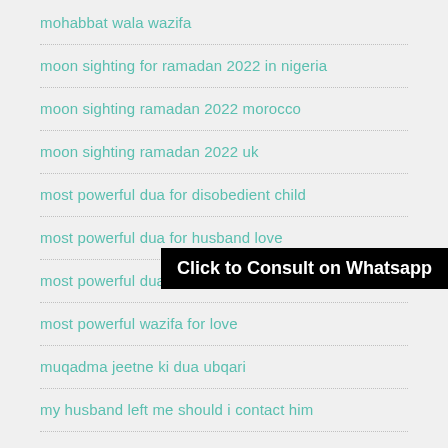mohabbat wala wazifa
moon sighting for ramadan 2022 in nigeria
moon sighting ramadan 2022 morocco
moon sighting ramadan 2022 uk
most powerful dua for disobedient child
most powerful dua for husband love
most powerful dua to get pregnant
most powerful wazifa for love
muqadma jeetne ki dua ubqari
my husband left me should i contact him
Click to Consult on Whatsapp